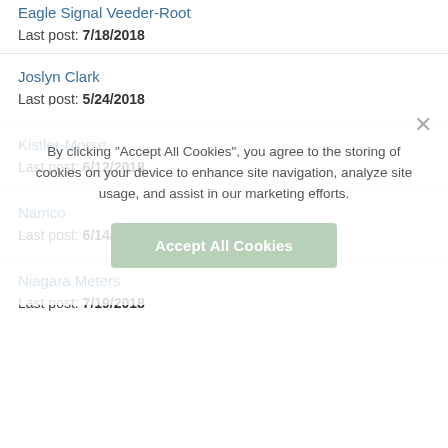Eagle Signal Veeder-Root
Last post: 7/18/2018
Joslyn Clark
Last post: 5/24/2018
Kistler-Morse
Last post: 6/12/2018
Namco
Last post: 6/14/2018
Niagara Meters
Last post: 7/19/2018